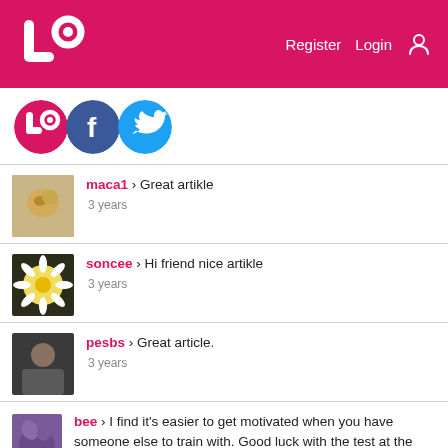Lo — Register   Login
[Figure (logo): Lo logo and social media icons: Lo (pink), Facebook (blue), Twitter (cyan)]
maca1 › Great artikle — 3 years
soncee › Hi friend nice artikle — 3 years
pesbs › Great article. — 3 years
bee › I find it's easier to get motivated when you have someone else to train with. Good luck with the test at the end of the year. I'm sure you will do amazingly well ? — 3 years
LAFFINGKNOME › Great self voyage of discovery article — 3 years